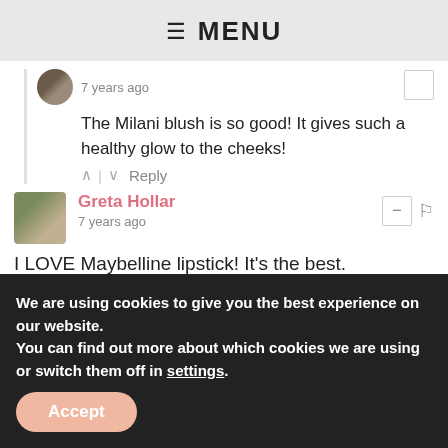≡ MENU
The Milani blush is so good! It gives such a healthy glow to the cheeks!
7 years ago
^ | ∨  Reply
Greta Hollar
7 years ago
I LOVE Maybelline lipstick! It's the best.
^ | ∨  Reply
Chelsie Carr → Greta Hollar
7 years ago
We are using cookies to give you the best experience on our website.
You can find out more about which cookies we are using or switch them off in settings.